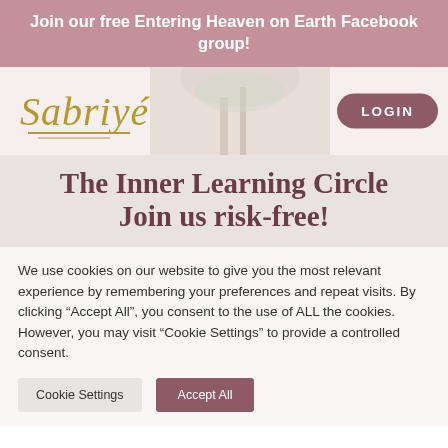Join our free Entering Heaven on Earth Facebook group!
[Figure (logo): Sabriyé cursive gold logo with decorative underline]
LOGIN
The Inner Learning Circle Join us risk-free!
We use cookies on our website to give you the most relevant experience by remembering your preferences and repeat visits. By clicking "Accept All", you consent to the use of ALL the cookies. However, you may visit "Cookie Settings" to provide a controlled consent.
Cookie Settings   Accept All